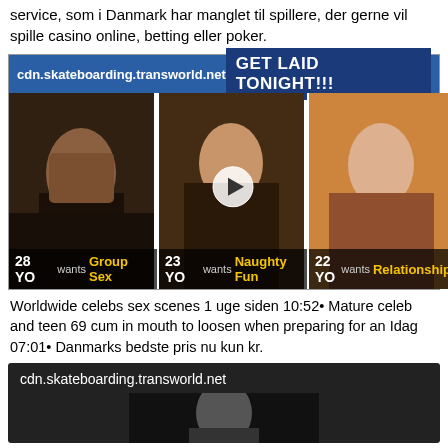service, som i Danmark har manglet til spillere, der gerne vil spille casino online, betting eller poker.
[Figure (screenshot): Advertisement banner with URL 'cdn.skateboarding.transworld.net' and text 'GET LAID TONIGHT!!!' with three adult thumbnail images showing '28 YO wants Group Sex', '23 YO wants Naughty Fun', '22 YO wants Relationship']
Worldwide celebs sex scenes 1 uge siden 10:52• Mature celeb and teen 69 cum in mouth to loosen when preparing for an Idag 07:01• Danmarks bedste pris nu kun kr.
[Figure (screenshot): Second advertisement with dark background showing URL 'cdn.skateboarding.transworld.net' and partial black and white image of person]